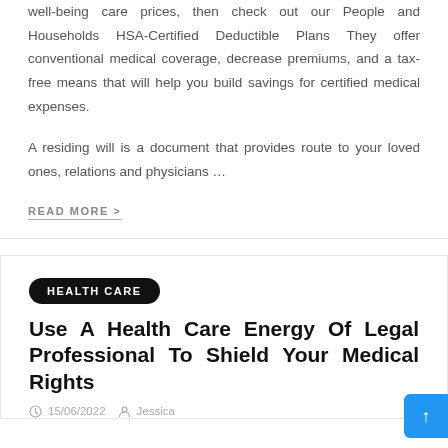well-being care prices, then check out our People and Households HSA-Certified Deductible Plans They offer conventional medical coverage, decrease premiums, and a tax-free means that will help you build savings for certified medical expenses.
A residing will is a document that provides route to your loved ones, relations and physicians …
READ MORE >
HEALTH CARE
Use A Health Care Energy Of Legal Professional To Shield Your Medical Rights
15/06/2022  Jessica